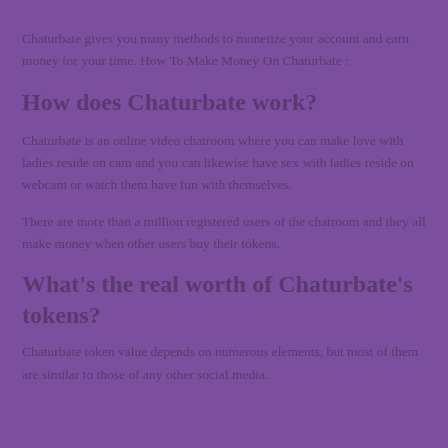Chaturbate gives you many methods to monetize your account and earn money for your time. How To Make Money On Chaturbate :
How does Chaturbate work?
Chaturbate is an online video chatroom where you can make love with ladies reside on cam and you can likewise have sex with ladies reside on webcam or watch them have fun with themselves.
There are more than a million registered users of the chatroom and they all make money when other users buy their tokens.
What's the real worth of Chaturbate's tokens?
Chaturbate token value depends on numerous elements, but most of them are similar to those of any other social media.